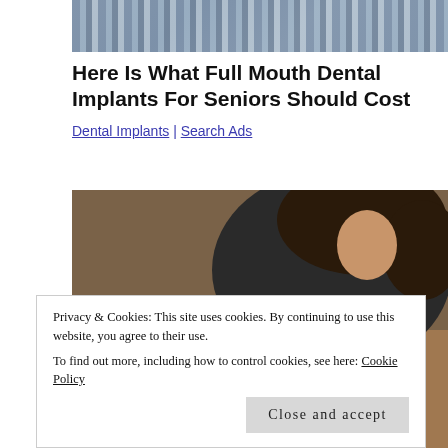[Figure (photo): Top cropped photo showing dental implant models or similar objects in grayscale/silver tones]
Here Is What Full Mouth Dental Implants For Seniors Should Cost
Dental Implants | Search Ads
[Figure (photo): A woman in dark clothing working at a desk with a laptop and calculator, viewed from above at an angle]
Privacy & Cookies: This site uses cookies. By continuing to use this website, you agree to their use.
To find out more, including how to control cookies, see here: Cookie Policy
Close and accept